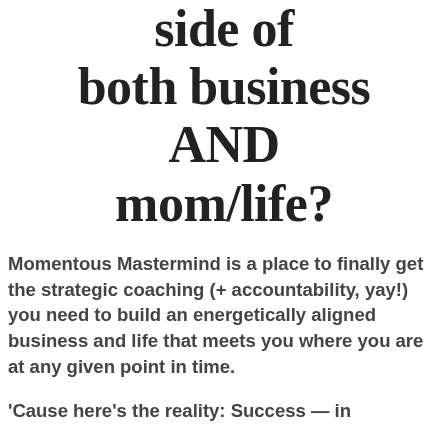side of both business AND mom/life?
Momentous Mastermind is a place to finally get the strategic coaching (+ accountability, yay!) you need to build an energetically aligned business and life that meets you where you are at any given point in time.
'Cause here's the reality: Success — in